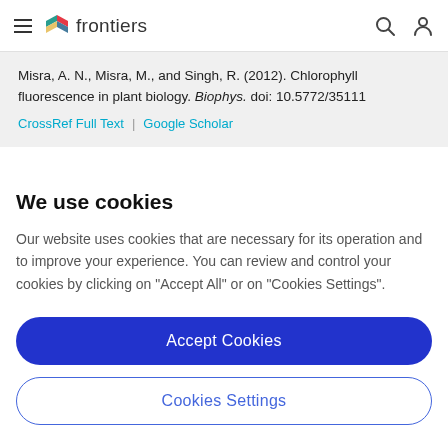frontiers
Misra, A. N., Misra, M., and Singh, R. (2012). Chlorophyll fluorescence in plant biology. Biophys. doi: 10.5772/35111
CrossRef Full Text | Google Scholar
We use cookies
Our website uses cookies that are necessary for its operation and to improve your experience. You can review and control your cookies by clicking on "Accept All" or on "Cookies Settings".
Accept Cookies
Cookies Settings